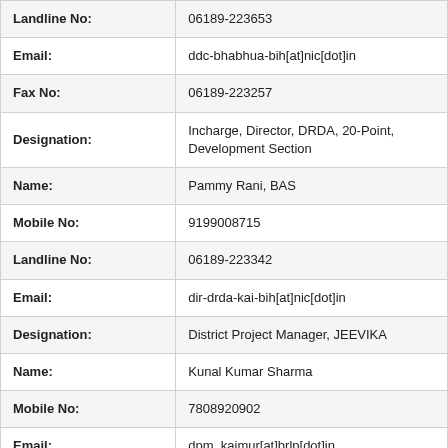| Field | Value |
| --- | --- |
| Landline No: | 06189-223653 |
| Email: | ddc-bhabhua-bih[at]nic[dot]in |
| Fax No: | 06189-223257 |
| Designation: | Incharge, Director, DRDA, 20-Point, Development Section |
| Name: | Pammy Rani, BAS |
| Mobile No: | 9199008715 |
| Landline No: | 06189-223342 |
| Email: | dir-drda-kai-bih[at]nic[dot]in |
| Designation: | District Project Manager, JEEVIKA |
| Name: | Kunal Kumar Sharma |
| Mobile No: | 7808920902 |
| Email: | dpm_kaimur[at]brlp[dot]in |